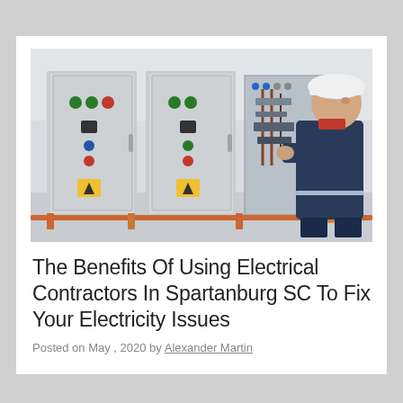[Figure (photo): An electrician wearing a white hard hat and blue work uniform working on industrial electrical panels/control boxes mounted on a wall. The panels have colored buttons and warning labels. The worker is examining or adjusting components in an open panel on the right.]
The Benefits Of Using Electrical Contractors In Spartanburg SC To Fix Your Electricity Issues
Posted on May , 2020 by Alexander Martin